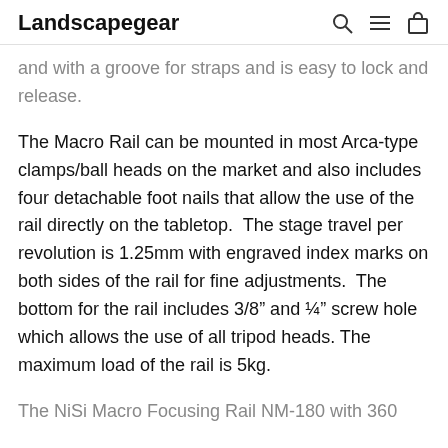Landscapegear
and with a groove for straps and is easy to lock and release.
The Macro Rail can be mounted in most Arca-type clamps/ball heads on the market and also includes four detachable foot nails that allow the use of the rail directly on the tabletop.  The stage travel per revolution is 1.25mm with engraved index marks on both sides of the rail for fine adjustments.  The bottom for the rail includes 3/8” and ¼” screw hole which allows the use of all tripod heads. The maximum load of the rail is 5kg.
The NiSi Macro Focusing Rail NM-180 with 360